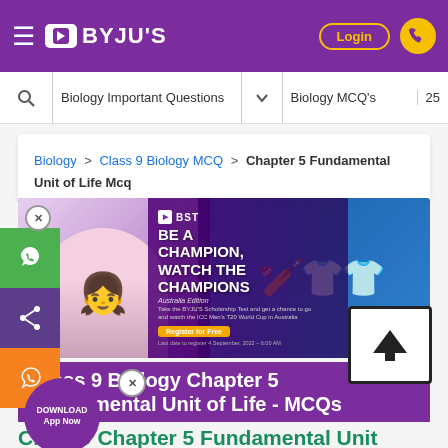BYJU'S — Login
Biology Important Questions  Biology MCQ's  25
Biology > Class 9 Biology MCQ > Chapter 5 Fundamental Unit of Life Mcq
[Figure (screenshot): BST advertisement banner: Be a Champion, Watch the Champions — Australia Edition. Take the BYJU'S Scholarship Test and get a chance to go and watch the ICC Men's T20 World Cup in Australia. Register for Free. Last date to register 4 September, 2022 – 6:00 AM]
Class 9 Biology Chapter 5 Fundamental Unit of Life - MCQs
Class 9 Chapter 5 Fundamental Unit